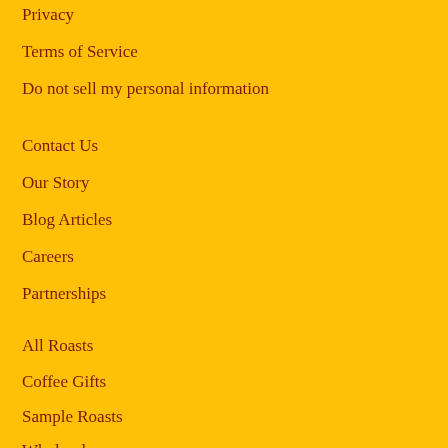Privacy
Terms of Service
Do not sell my personal information
Contact Us
Our Story
Blog Articles
Careers
Partnerships
All Roasts
Coffee Gifts
Sample Roasts
Wholesale